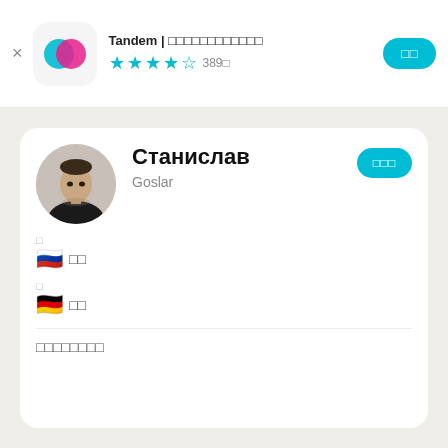[Figure (screenshot): Tandem app header with logo, app name 'Tandem | □□□□□□□□□□□□', star rating (4.5 stars, 389□), and a teal action button]
[Figure (photo): Profile photo of a young man (Станислав) in a circular crop]
Станислав
Goslar
□ (native language label)
🇷🇺 □□ (Russian language)
□ (learning language label)
🇩🇪 □□ (German language)
□□□□□□□□ (about section)